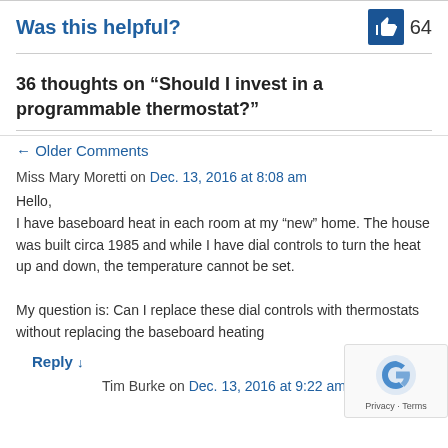Was this helpful?
[Figure (illustration): Thumbs up icon (white on dark blue background) with count 64]
36 thoughts on “Should I invest in a programmable thermostat?”
← Older Comments
Miss Mary Moretti on Dec. 13, 2016 at 8:08 am
Hello,
I have baseboard heat in each room at my “new” home. The house was built circa 1985 and while I have dial controls to turn the heat up and down, the temperature cannot be set.

My question is: Can I replace these dial controls with thermostats without replacing the baseboard heating
Reply ↓
Tim Burke on Dec. 13, 2016 at 9:22 am